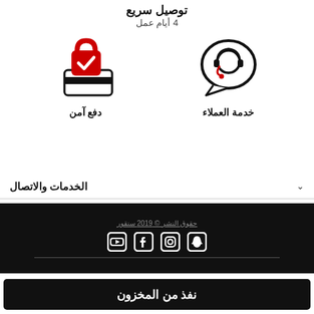توصيل سريع
4 أيام عمل
[Figure (illustration): Customer service headset with speech bubble icon]
خدمة العملاء
[Figure (illustration): Red padlock with checkmark and credit card icon indicating secure payment]
دفع آمن
الخدمات والاتصال
حقوق النشر © 2019 سنقور
[Figure (infographic): Social media icons: Snapchat, Instagram, Facebook, YouTube]
نفذ من المخزون